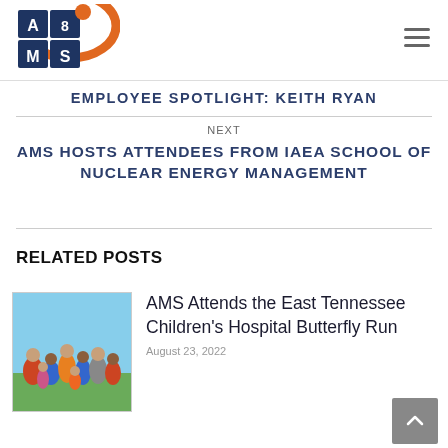[Figure (logo): AMS company logo with orange swoosh and dark blue letter blocks on white background]
EMPLOYEE SPOTLIGHT: KEITH RYAN
NEXT
AMS HOSTS ATTENDEES FROM IAEA SCHOOL OF NUCLEAR ENERGY MANAGEMENT
RELATED POSTS
[Figure (photo): Group photo of people outdoors in casual athletic clothing, related to East Tennessee Children's Hospital Butterfly Run]
AMS Attends the East Tennessee Children's Hospital Butterfly Run
August 23, 2022